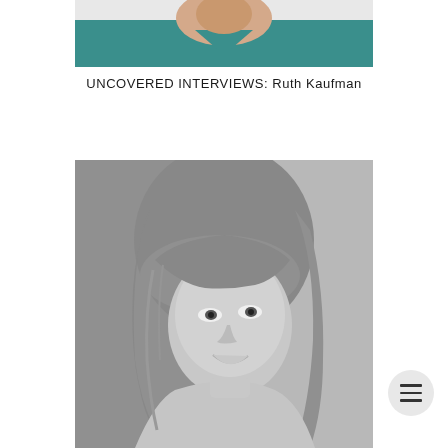[Figure (photo): Top portion of a person wearing a teal/turquoise top, showing neck and upper chest area, partially cropped]
UNCOVERED INTERVIEWS: Ruth Kaufman
[Figure (photo): Black and white headshot portrait of a woman with shoulder-length layered hair and bangs, smiling, looking slightly off-camera]